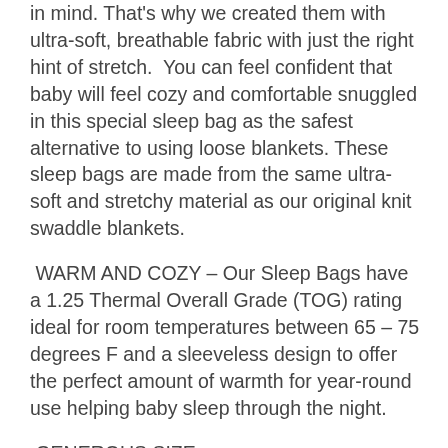in mind. That's why we created them with ultra-soft, breathable fabric with just the right hint of stretch.  You can feel confident that baby will feel cozy and comfortable snuggled in this special sleep bag as the safest alternative to using loose blankets. These sleep bags are made from the same ultra-soft and stretchy material as our original knit swaddle blankets.
WARM AND COZY – Our Sleep Bags have a 1.25 Thermal Overall Grade (TOG) rating ideal for room temperatures between 65 – 75 degrees F and a sleeveless design to offer the perfect amount of warmth for year-round use helping baby sleep through the night.
GENEROUS SIZE
The 0-6 month size provides a length of 26.5 inches, width of 13 inches under the armpits and 18.5 inches at the widest